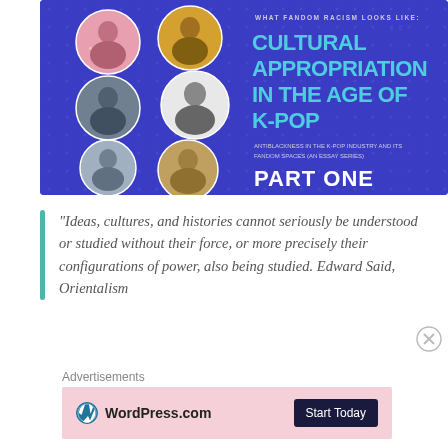[Figure (infographic): Blue banner infographic titled 'Cultural Appropriation in the Age of K-Pop'. Subtitle: 'What Fandom Racism Looks Like'. Bottom text: 'Antiblackness in the K-Pop Industry and Its Fandom Spaces (An Essay Series)'. Bold text: 'PART ONE'. Features circular portrait photos of K-pop artists on the left side.]
“Ideas, cultures, and histories cannot seriously be understood or studied without their force, or more precisely their configurations of power, also being studied. Edward Said, Orientalism
Advertisements
[Figure (logo): WordPress.com advertisement banner with pink background. Shows WordPress.com logo on the left and a dark navy 'Start Today' button on the right.]